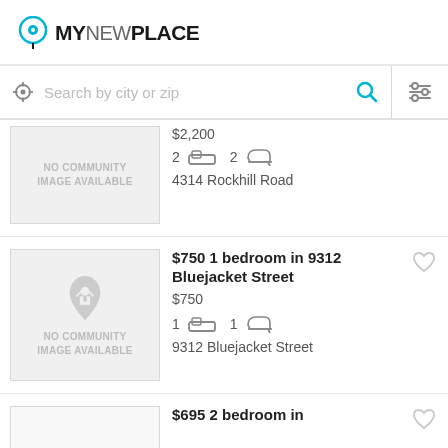[Figure (logo): MyNewPlace logo with location pin icon]
[Figure (screenshot): Search bar with location icon, 'Search by city or zip' placeholder, search magnifier, and filter icon]
$2,200
2 bed  2 bath
4314 Rockhill Road
$750 1 bedroom in 9312 Bluejacket Street
$750
1 bed  1 bath
9312 Bluejacket Street
$695 2 bedroom in